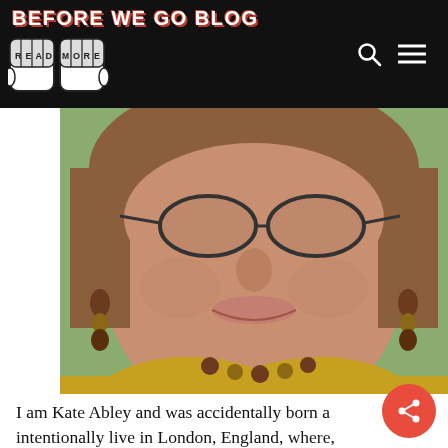BEFORE WE GO BLOG
[Figure (photo): Close-up photo of a middle-aged woman smiling, wearing round glasses, dangling earrings, a necklace, and a yellow patterned blouse.]
I am Kate Abley and was accidentally born a intentionally live in London, England, where, amongst other things I have been an awful front